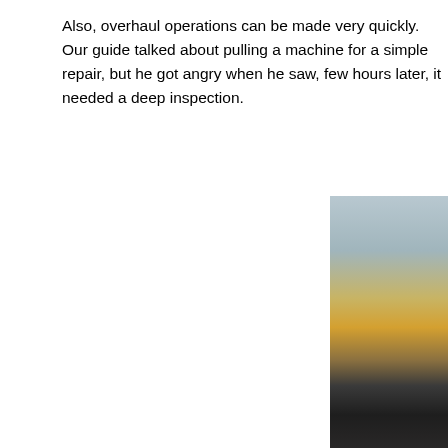Also, overhaul operations can be made very quickly. Our guide talked about pulling a machine for a simple repair, but he got angry when he saw, few hours later, it needed a deep inspection.
[Figure (photo): Robinson helicopter rotor blade or rotor head component on a workbench in a maintenance hangar, with yellow equipment and scaffolding visible in the background.]
Robinson helicopters, rotor b...
The visit finishes with the preparation of aircraft for test flights. Considerable attention is paid to prototype helicopters. Robinson is very efficient in producing good affordable aircraft, making innovation its spearhead.